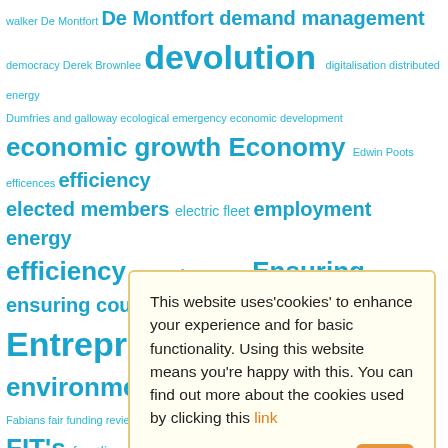walker De Montfort De Montfort demand management democracy Derek Brownlee devolution digitalisation distributed energy Dumfries and galloway ecological emergency economic development economic growth Economy Edwin Poots efficences efficiency elected members electric fleet employment energy efficiency energy from waste Ensuring ensuring council Entrepreneurship environment Eric Pickles estate management Fabians fair funding review feed in tariffs fees and charges Fife finance FIT's frontline services fuel poverty Ged Fitzgerald general election George Osborne geothermal Governance Government graham allan Graph of doom green council's Green Deal Green economy Green Jobs Greening Cornwall G... maintenance health and wellbeing bo... eating Healthy Homes Act Helen Sul... maintenance housing housi... Howard Bernstein hydrogen incom... services innovation Insourc... Welch Jamie oliver Jeremy Purvis Jo... working Jules Pipe Labour Party ... greener Leisure leisure centre... Democrats Libraries local com... local economic benefit local economies Local government local
This website uses'cookies' to enhance your experience and for basic functionality. Using this website means you're happy with this. You can find out more about the cookies used by clicking this link
ok